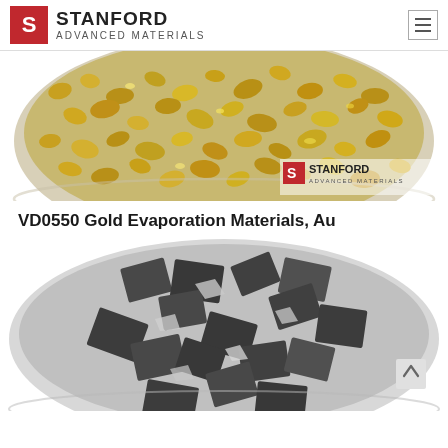Stanford Advanced Materials
[Figure (photo): Gold granules/pellets in a glass petri dish, viewed from above, with Stanford Advanced Materials watermark logo in the bottom right corner.]
VD0550 Gold Evaporation Materials, Au
[Figure (photo): Metallic dark gray/silver angular chunks and flakes in a glass petri dish, viewed from above. A navigation up-arrow chevron is visible on the right side.]